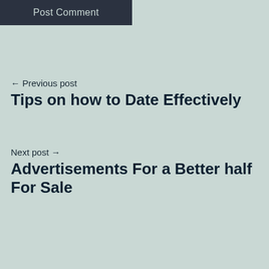[Figure (screenshot): Dark button labeled 'Post Comment' in top-left corner]
← Previous post
Tips on how to Date Effectively
Next post →
Advertisements For a Better half For Sale